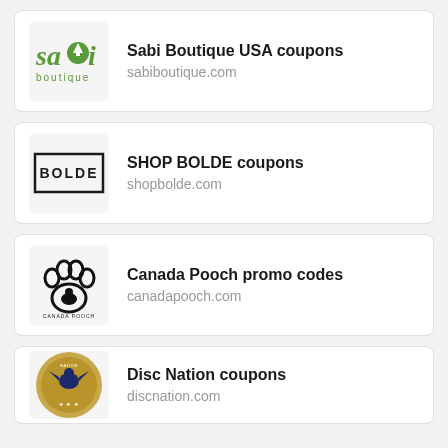Sabi Boutique USA coupons
sabiboutique.com
SHOP BOLDE coupons
shopbolde.com
Canada Pooch promo codes
canadapooch.com
Disc Nation coupons
discnation.com